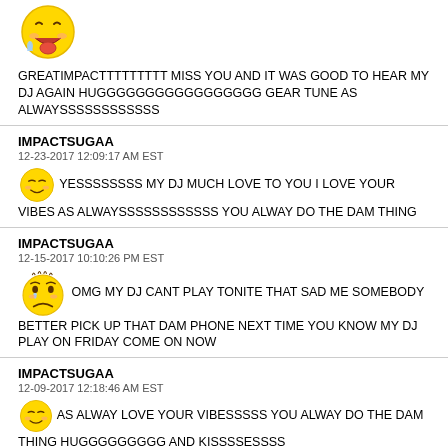[Figure (illustration): Emoji face with tongue out and drool, hot/excited expression]
GREATIMPACTTTTTTTTT MISS YOU AND IT WAS GOOD TO HEAR MY DJ AGAIN HUGGGGGGGGGGGGGGGGG GEAR TUNE AS ALWAYSSSSSSSSSSSS
IMPACTSUGAA
12-23-2017 12:09:17 AM EST
[Figure (illustration): Emoji face with closed eyes and content expression]
YESSSSSSSS MY DJ MUCH LOVE TO YOU I LOVE YOUR VIBES AS ALWAYSSSSSSSSSSSS YOU ALWAY DO THE DAM THING
IMPACTSUGAA
12-15-2017 10:10:26 PM EST
[Figure (illustration): Sad crying emoji face]
OMG MY DJ CANT PLAY TONITE THAT SAD ME SOMEBODY BETTER PICK UP THAT DAM PHONE NEXT TIME YOU KNOW MY DJ PLAY ON FRIDAY COME ON NOW
IMPACTSUGAA
12-09-2017 12:18:46 AM EST
[Figure (illustration): Content/happy emoji face]
AS ALWAY LOVE YOUR VIBESSSSS YOU ALWAY DO THE DAM THING HUGGGGGGGGG AND KISSSSESSSS